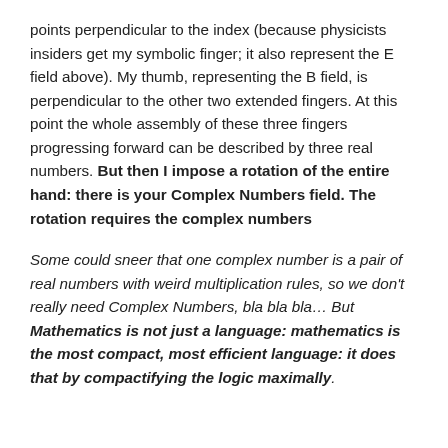points perpendicular to the index (because physicists insiders get my symbolic finger; it also represent the E field above). My thumb, representing the B field, is perpendicular to the other two extended fingers. At this point the whole assembly of these three fingers progressing forward can be described by three real numbers. But then I impose a rotation of the entire hand: there is your Complex Numbers field. The rotation requires the complex numbers
Some could sneer that one complex number is a pair of real numbers with weird multiplication rules, so we don't really need Complex Numbers, bla bla bla… But Mathematics is not just a language: mathematics is the most compact, most efficient language: it does that by compactifying the logic maximally.